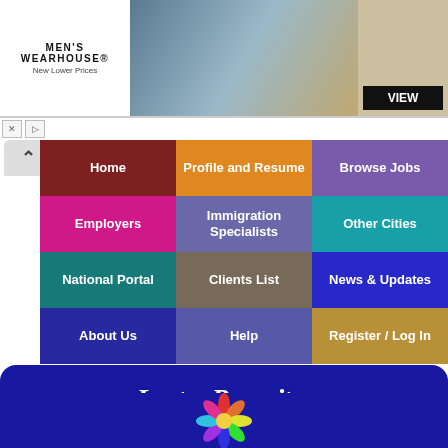[Figure (screenshot): Men's Wearhouse advertisement banner with couple in formal wear and VIEW button]
[Figure (screenshot): Navigation chevron/back arrow button]
Home
Profile and Resume
Browse Jobs
Employers
Immigration Specialists
Other Cities
National Portal
Clients List
News & Updates
About Us
Help
Register / Log In
LaytonRecruiter
Since 2001
[Figure (logo): Colorful daisy/pinwheel logo with multicolored petals]